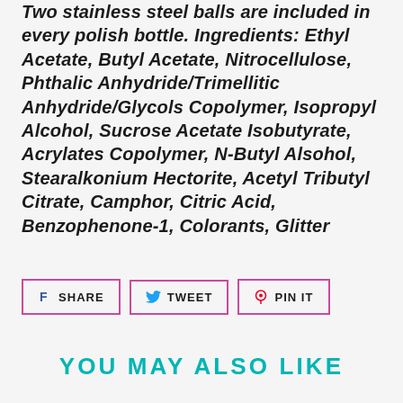Two stainless steel balls are included in every polish bottle. Ingredients: Ethyl Acetate, Butyl Acetate, Nitrocellulose, Phthalic Anhydride/Trimellitic Anhydride/Glycols Copolymer, Isopropyl Alcohol, Sucrose Acetate Isobutyrate, Acrylates Copolymer, N-Butyl Alsohol, Stearalkonium Hectorite, Acetyl Tributyl Citrate, Camphor, Citric Acid, Benzophenone-1, Colorants, Glitter
[Figure (other): Social sharing buttons: Facebook Share, Twitter Tweet, Pinterest Pin It]
YOU MAY ALSO LIKE